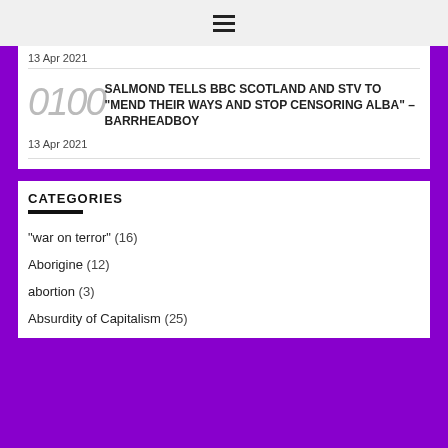≡
13 Apr 2021
SALMOND TELLS BBC SCOTLAND AND STV TO "MEND THEIR WAYS AND STOP CENSORING ALBA" – BarrheadBoy
13 Apr 2021
CATEGORIES
"war on terror" (16)
Aborigine (12)
abortion (3)
Absurdity of Capitalism (25)